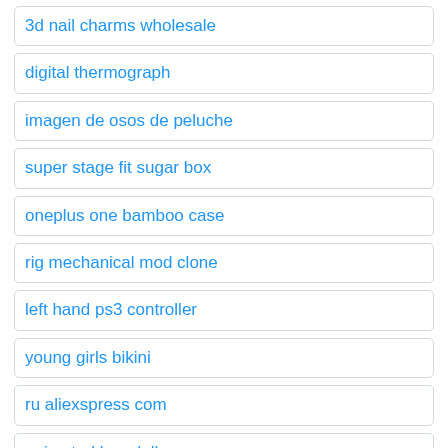3d nail charms wholesale
digital thermograph
imagen de osos de peluche
super stage fit sugar box
oneplus one bamboo case
rig mechanical mod clone
left hand ps3 controller
young girls bikini
ru aliexspress com
animated boy dolls
mybaby store
gemmed high heels